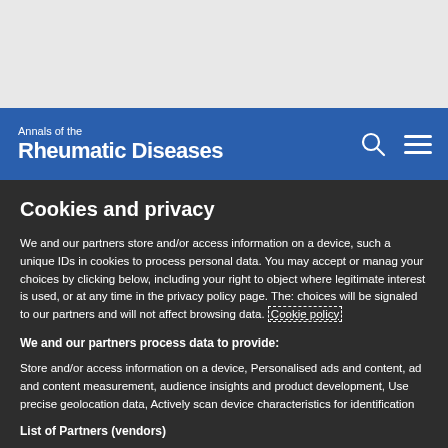Annals of the Rheumatic Diseases
Cookies and privacy
We and our partners store and/or access information on a device, such as unique IDs in cookies to process personal data. You may accept or manage your choices by clicking below, including your right to object where legitimate interest is used, or at any time in the privacy policy page. These choices will be signaled to our partners and will not affect browsing data. Cookie policy
We and our partners process data to provide:
Store and/or access information on a device, Personalised ads and content, ad and content measurement, audience insights and product development, Use precise geolocation data, Actively scan device characteristics for identification
List of Partners (vendors)